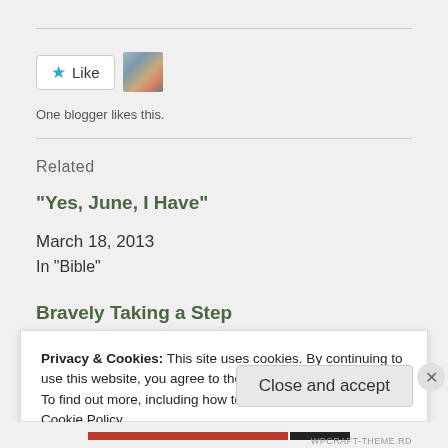[Figure (other): Like button with blue star icon and a landscape thumbnail photo of a canyon]
One blogger likes this.
Related
“Yes, June, I Have”
March 18, 2013
In "Bible"
Bravely Taking a Step
Privacy & Cookies: This site uses cookies. By continuing to use this website, you agree to their use.
To find out more, including how to control cookies, see here:
Cookie Policy
Close and accept